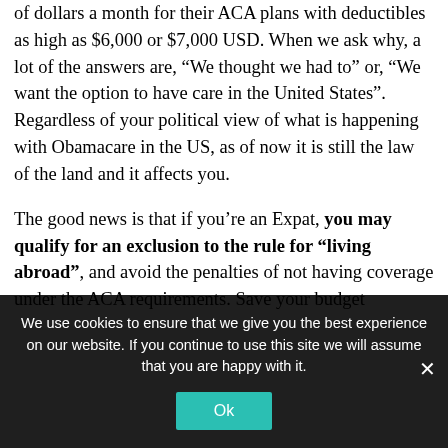of dollars a month for their ACA plans with deductibles as high as $6,000 or $7,000 USD. When we ask why, a lot of the answers are, “We thought we had to” or, “We want the option to have care in the United States”. Regardless of your political view of what is happening with Obamacare in the US, as of now it is still the law of the land and it affects you.
The good news is that if you’re an Expat, you may qualify for an exclusion to the rule for “living abroad”, and avoid the penalties of not having coverage under the ACA requirements. Save your budget
We use cookies to ensure that we give you the best experience on our website. If you continue to use this site we will assume that you are happy with it.